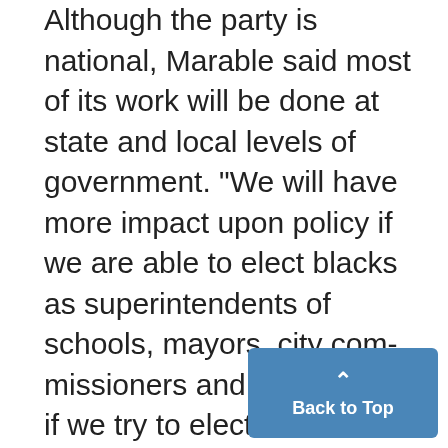Although the party is national, Marable said most of its work will be done at state and local levels of government. "We will have more impact upon policy if we are able to elect blacks as superintendents of schools, mayors, city com-missioners and the like, than if we try to elect 10 or so congressmen," said Marable. Jemadari Kamara, the Midwest regional representative to the organizing committee and